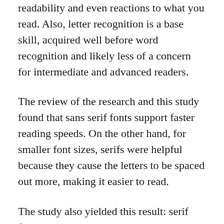readability and even reactions to what you read. Also, letter recognition is a base skill, acquired well before word recognition and likely less of a concern for intermediate and advanced readers.
The review of the research and this study found that sans serif fonts support faster reading speeds. On the other hand, for smaller font sizes, serifs were helpful because they cause the letters to be spaced out more, making it easier to read.
The study also yielded this result: serif fonts may have slowed the readers down a bit, but the readers found serif font texts easier to understand, and the serifs font increased the readers' interest and appreciation for the